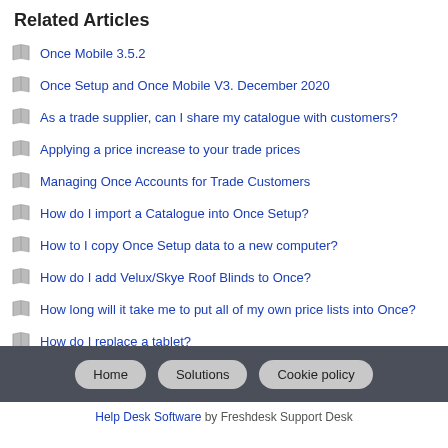Related Articles
Once Mobile 3.5.2
Once Setup and Once Mobile V3. December 2020
As a trade supplier, can I share my catalogue with customers?
Applying a price increase to your trade prices
Managing Once Accounts for Trade Customers
How do I import a Catalogue into Once Setup?
How to I copy Once Setup data to a new computer?
How do I add Velux/Skye Roof Blinds to Once?
How long will it take me to put all of my own price lists into Once?
How do I replace a tablet?
Home  Solutions  Cookie policy
Help Desk Software by Freshdesk Support Desk